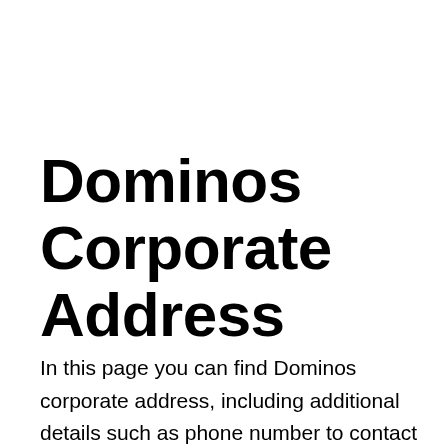Dominos Corporate Address
In this page you can find Dominos corporate address, including additional details such as phone number to contact the company and the best ways to contact Dominos corporate. Dominos corporate address is at Offices